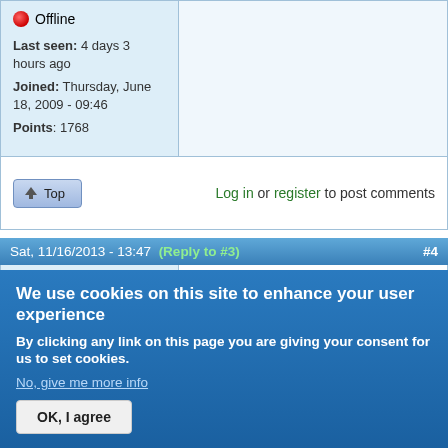Offline
Last seen: 4 days 3 hours ago
Joined: Thursday, June 18, 2009 - 09:46
Points: 1768
Log in or register to post comments
Sat, 11/16/2013 - 13:47 (Reply to #3) #4
ofx210p
Offline
Last seen: 6 years 7 months ago
Joined: Monday,
Re: How many Vectrix reached 100.000 km?
I wish there was a 'like' button - that is a great phrase !
We use cookies on this site to enhance your user experience
By clicking any link on this page you are giving your consent for us to set cookies.
No, give me more info
OK, I agree